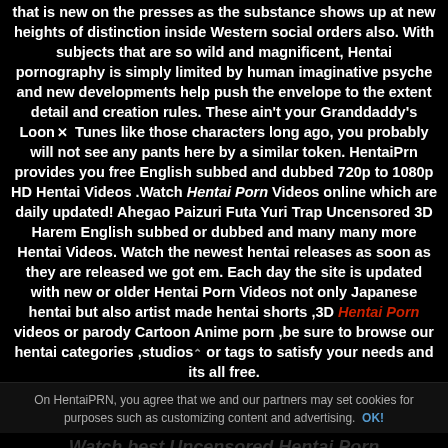that is new on the presses as the substance shows up at new heights of distinction inside Western social orders also. With subjects that are so wild and magnificent, Hentai pornography is simply limited by human imaginative psyche and new developments help push the envelope to the extent detail and creation rules. These ain't your Granddaddy's Looney Tunes like those characters long ago, you probably will not see any pants here by a similar token. HentaiPrn provides you free English subbed and dubbed 720p to 1080p HD Hentai Videos .Watch Hentai Porn Videos online which are daily updated! Ahegao Paizuri Futa Yuri Trap Uncensored 3D Harem English subbed or dubbed and many many more Hentai Videos. Watch the newest hentai releases as soon as they are released we got em. Each day the site is updated with new or older Hentai Porn Videos not only Japanese hentai but also artist made hentai shorts ,3D Hentai Porn videos or parody Cartoon Anime porn ,be sure to browse our hentai categories ,studios or tags to satisfy your needs and its all free.
On HentaiPRN, you agree that we and our partners may set cookies for purposes such as customizing content and advertising. OK!
Watch best Uncensored Hentai Porn